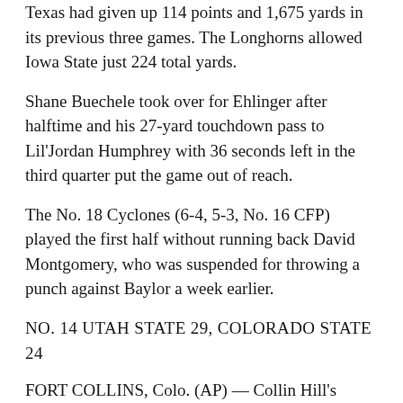Texas had given up 114 points and 1,675 yards in its previous three games. The Longhorns allowed Iowa State just 224 total yards.
Shane Buechele took over for Ehlinger after halftime and his 27-yard touchdown pass to Lil'Jordan Humphrey with 36 seconds left in the third quarter put the game out of reach.
The No. 18 Cyclones (6-4, 5-3, No. 16 CFP) played the first half without running back David Montgomery, who was suspended for throwing a punch against Baylor a week earlier.
NO. 14 UTAH STATE 29, COLORADO STATE 24
FORT COLLINS, Colo. (AP) — Collin Hill's apparent 34-yard touchdown pass to Preston Williams with no time left was negated by penalty, giving Utah State the victory in a wild and stunning finish to a game played in snow and freezing rain.